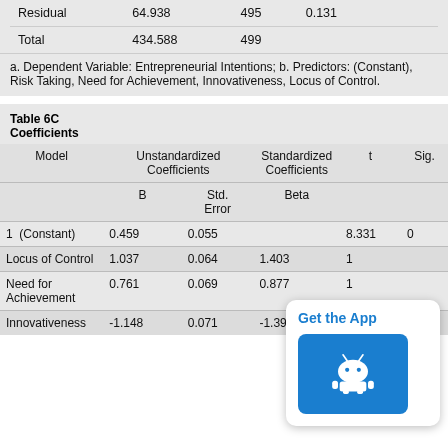|  |  |  |  |  |  |
| --- | --- | --- | --- | --- | --- |
| Residual | 64.938 | 495 | 0.131 |  |  |
| Total | 434.588 | 499 |  |  |  |
a. Dependent Variable: Entrepreneurial Intentions; b. Predictors: (Constant), Risk Taking, Need for Achievement, Innovativeness, Locus of Control.
Table 6C
Coefficients
| Model | Unstandardized Coefficients B | Unstandardized Coefficients Std. Error | Standardized Coefficients Beta | t | Sig. |
| --- | --- | --- | --- | --- | --- |
| 1  (Constant) | 0.459 | 0.055 |  | 8.331 | 0 |
| Locus of Control | 1.037 | 0.064 | 1.403 | 1 |  |
| Need for Achievement | 0.761 | 0.069 | 0.877 | 1 |  |
| Innovativeness | -1.148 | 0.071 | -1.391 | -16.214 | 0 |